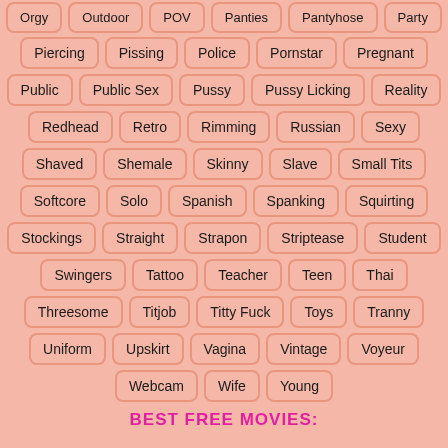Piercing Pissing Police Pornstar Pregnant
Public Public Sex Pussy Pussy Licking Reality
Redhead Retro Rimming Russian Sexy
Shaved Shemale Skinny Slave Small Tits
Softcore Solo Spanish Spanking Squirting
Stockings Straight Strapon Striptease Student
Swingers Tattoo Teacher Teen Thai
Threesome Titjob Titty Fuck Toys Tranny
Uniform Upskirt Vagina Vintage Voyeur
Webcam Wife Young
BEST FREE MOVIES: